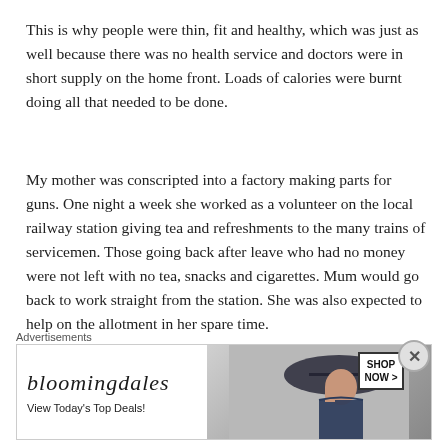This is why people were thin, fit and healthy, which was just as well because there was no health service and doctors were in short supply on the home front. Loads of calories were burnt doing all that needed to be done.
My mother was conscripted into a factory making parts for guns. One night a week she worked as a volunteer on the local railway station giving tea and refreshments to the many trains of servicemen. Those going back after leave who had no money were not left with no tea, snacks and cigarettes. Mum would go back to work straight from the station. She was also expected to help on the allotment in her spare time.
There were many poor people who benefitted from rationing as it was the first time they had a good
Advertisements
[Figure (other): Bloomingdales advertisement banner with logo, tagline 'View Today's Top Deals!', image of woman in wide-brim hat, and 'SHOP NOW >' button box.]